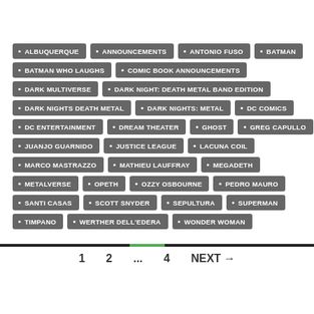ALBUQUERQUE
ANNOUNCEMENTS
ANTONIO FUSO
BATMAN
BATMAN WHO LAUGHS
COMIC BOOK ANNOUNCEMENTS
DARK MULTIVERSE
DARK NIGHT: DEATH METAL BAND EDITION
DARK NIGHTS DEATH METAL
DARK NIGHTS: METAL
DC COMICS
DC ENTERTAINMENT
DREAM THEATER
GHOST
GREG CAPULLO
JUANJO GUARNIDO
JUSTICE LEAGUE
LACUNA COIL
MARCO MASTRAZZO
MATHIEU LAUFFRAY
MEGADETH
METALVERSE
OPETH
OZZY OSBOURNE
PEDRO MAURO
SANTI CASAS
SCOTT SNYDER
SEPULTURA
SUPERMAN
TIMPANO
WERTHER DELL'EDERA
WONDER WOMAN
1  2  ...  4  NEXT →